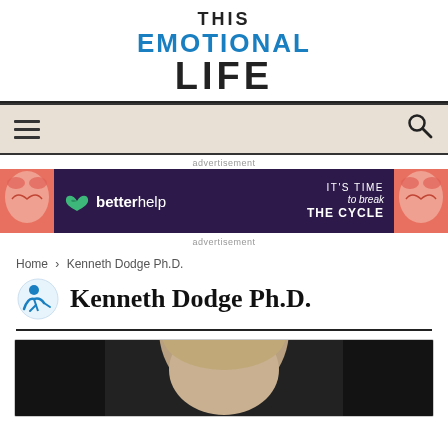[Figure (logo): This Emotional Life logo — three lines: THIS (black), EMOTIONAL (blue), LIFE (black, large)]
[Figure (screenshot): Navigation bar with hamburger menu icon on left and search icon on right, tan/beige background]
advertisement
[Figure (photo): BetterHelp advertisement banner: dark purple background with decorative illustrated faces on left and right edges. BetterHelp logo (green chain-link icon) with text 'betterhelp'. Tagline: IT'S TIME to break THE CYCLE]
advertisement
Home › Kenneth Dodge Ph.D.
Kenneth Dodge Ph.D.
[Figure (photo): Headshot photograph of Kenneth Dodge Ph.D., partially visible, showing the top portion of the face, with dark background]